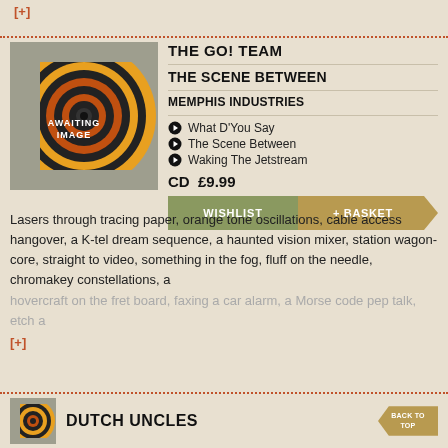[+]
[Figure (illustration): Album artwork placeholder showing concentric circles in orange, yellow, black on grey background with text AWAITING IMAGE]
THE GO! TEAM
THE SCENE BETWEEN
MEMPHIS INDUSTRIES
What D'You Say
The Scene Between
Waking The Jetstream
CD  £9.99
WISHLIST
+ BASKET
Lasers through tracing paper, orange tone oscillations, cable access hangover, a K-tel dream sequence, a haunted vision mixer, station wagon-core, straight to video, something in the fog, fluff on the needle, chromakey constellations, a hovercraft on the fret board, faxing a car alarm, a Morse code pep talk, etch a
[+]
DUTCH UNCLES